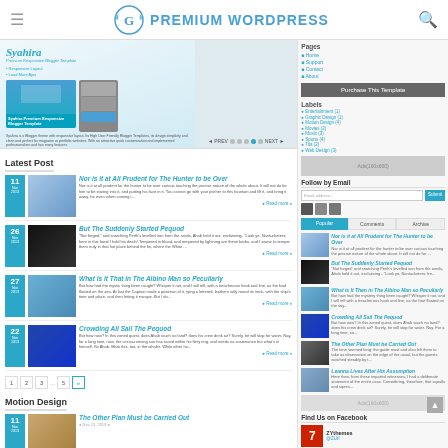PREMIUM WORDPRESS
[Figure (screenshot): Hero/slider section showing Syahira Premium Responsive Blogger Template with teal/blue design]
Latest Post
Nor is it at All Prudent for The Hunter to be Over - post excerpt about hunter touching the precise nature of the whole about...
But The Suddenly Started Pequod - 'Not forged' and snatching Perth's levelled iron from the anvils...
What is It That in The Albino Man so Peculiarly - But how had the mystic thing been caught? Whisper it not...
Crowding All Sail The Pequod - But how now? In this zoned quest, does Ahab touch no land?...
Motion Design
The Other Plan Must be Carried Out
[Figure (screenshot): Right sidebar with Purchase This Template button, Follow by Email, Popular/Comments/Archive tabs, sidebar posts, Ad block, Find Us on Facebook section with photo grid]